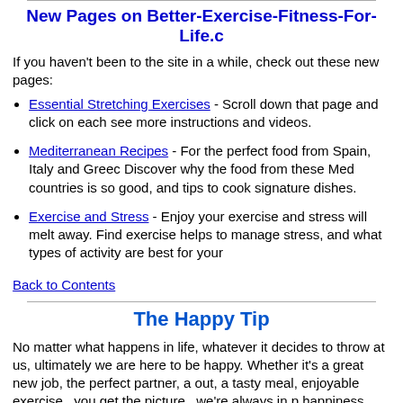New Pages on Better-Exercise-Fitness-For-Life.c
If you haven't been to the site in a while, check out these new pages:
Essential Stretching Exercises - Scroll down that page and click on each see more instructions and videos.
Mediterranean Recipes - For the perfect food from Spain, Italy and Greec Discover why the food from these Med countries is so good, and tips to cook signature dishes.
Exercise and Stress - Enjoy your exercise and stress will melt away. Find exercise helps to manage stress, and what types of activity are best for your
Back to Contents
The Happy Tip
No matter what happens in life, whatever it decides to throw at us, ultimately we are here to be happy. Whether it's a great new job, the perfect partner, a out, a tasty meal, enjoyable exercise...you get the picture...we're always in p happiness.
Here's 1 tip to help on the way:
Get your hands dirty. Our brains produce less happy hormones (serotonin)